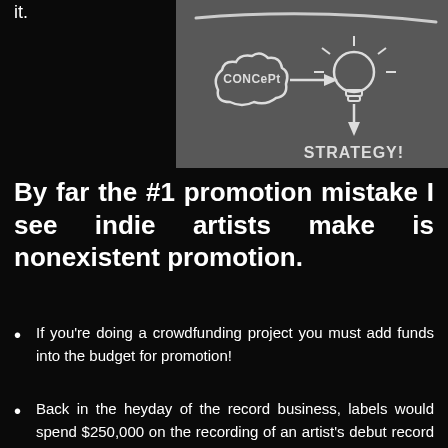it.
[Figure (illustration): Chalkboard illustration showing 'concept' in a thought cloud shape, an arrow pointing right to a light bulb, and an arrow pointing down to the word 'STRATEGY!']
By far the #1 promotion mistake I see indie artists make is nonexistent promotion.
If you're doing a crowdfunding project you must add funds into the budget for promotion!
Back in the heyday of the record business, labels would spend $250,000 on the recording of an artist's debut record and